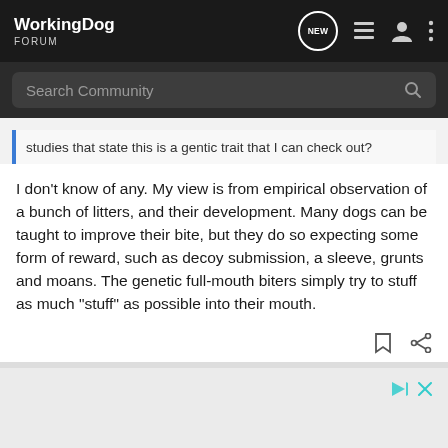WorkingDog FORUM
Search Community
studies that state this is a gentic trait that I can check out?
I don't know of any. My view is from empirical observation of a bunch of litters, and their development. Many dogs can be taught to improve their bite, but they do so expecting some form of reward, such as decoy submission, a sleeve, grunts and moans. The genetic full-mouth biters simply try to stuff as much "stuff" as possible into their mouth.